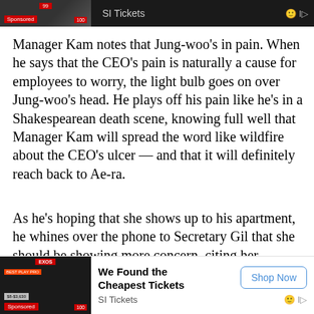[Figure (screenshot): Top advertisement banner: dark background with sponsored image and 'SI Tickets' text]
Manager Kam notes that Jung-woo’s in pain. When he says that the CEO’s pain is naturally a cause for employees to worry, the light bulb goes on over Jung-woo’s head. He plays off his pain like he’s in a Shakespearean death scene, knowing full well that Manager Kam will spread the word like wildfire about the CEO’s ulcer — and that it will definitely reach back to Ae-ra.
As he’s hoping that she shows up to his apartment, he whines over the phone to Secretary Gil that she should be showing more concern, citing her indifference to his previous hospital stay as a point of complaint. Secretary Gil informs him that it was actually Ae-ra who stayed with him all night at the hospital, not Yeo-jin.
[Figure (screenshot): Bottom advertisement: dark image on left, 'We Found the Cheapest Tickets' bold text, SI Tickets label, Shop Now button]